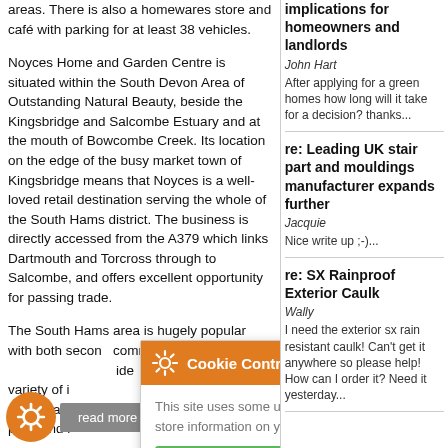areas. There is also a homewares store and café with parking for at least 38 vehicles.
Noyces Home and Garden Centre is situated within the South Devon Area of Outstanding Natural Beauty, beside the Kingsbridge and Salcombe Estuary and at the mouth of Bowcombe Creek. Its location on the edge of the busy market town of Kingsbridge means that Noyces is a well-loved retail destination serving the whole of the South Hams district. The business is directly accessed from the A379 which links Dartmouth and Torcross through to Salcombe, and offers excellent opportunity for passing trade.
The South Hams area is hugely popular with both seco... community... secondary... variety of i... supermark... pubs and r...
Chris Swe... Trade Rel... ellent c... acquire a profitable ...ss w... velopment and growth ...ities."
[Figure (screenshot): Cookie Control popup overlay with orange header, gear icon, close button, body text 'This site uses some unobtrusive cookies to store information on your computer.', green 'I am happy with this' button, and 'about this tool' link.]
implications for homeowners and landlords
John Hart
After applying for a green homes how long will it take for a decision? thanks...
re: Leading UK stair part and mouldings manufacturer expands further
Jacquie
Nice write up ;-)...
re: SX Rainproof Exterior Caulk
Wally
I need the exterior sx rain resistant caulk! Can't get it anywhere so please help! How can I order it? Need it yesterday...